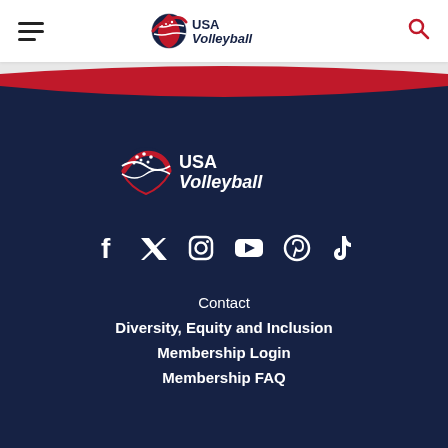USA Volleyball header navigation with hamburger menu and search icon
[Figure (logo): USA Volleyball logo centered in dark navy footer section]
[Figure (infographic): Social media icons row: Facebook, Twitter, Instagram, YouTube, Pinterest, TikTok]
Contact
Diversity, Equity and Inclusion
Membership Login
Membership FAQ